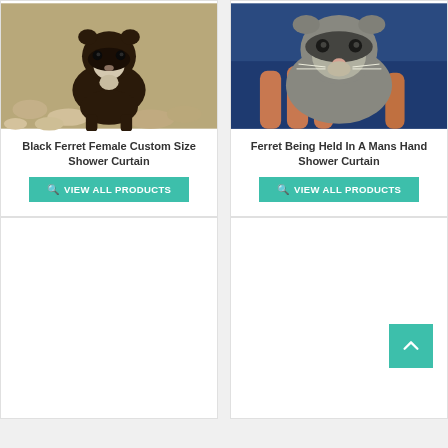[Figure (photo): Black ferret female sitting on pebbles/rocks]
Black Ferret Female Custom Size Shower Curtain
VIEW ALL PRODUCTS
[Figure (photo): Ferret being held in a man's hand, close-up shot]
Ferret Being Held In A Mans Hand Shower Curtain
VIEW ALL PRODUCTS
[Figure (photo): Empty card placeholder (bottom left)]
[Figure (photo): Empty card placeholder with back-to-top button (bottom right)]